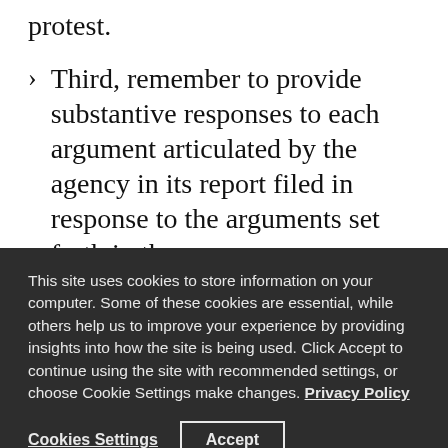protest.
Third, remember to provide substantive responses to each argument articulated by the agency in its report filed in response to the arguments set forth in the
This site uses cookies to store information on your computer. Some of these cookies are essential, while others help us to improve your experience by providing insights into how the site is being used. Click Accept to continue using the site with recommended settings, or choose Cookie Settings make changes. Privacy Policy
Cookies Settings   Accept